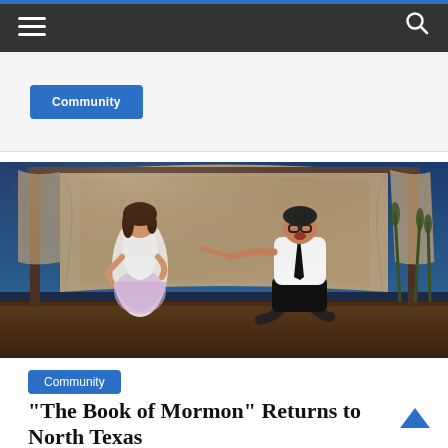Navigation bar with hamburger menu and search icon
[Figure (photo): Theater performance scene from 'The Book of Mormon' musical. A woman in a white dress with floral skirt stands on the left, while a man in a white shirt, black tie, and black shorts crouches pointing at her on the right. A large fabric backdrop hangs behind them on a stage.]
Community
“The Book of Mormon” Returns to North Texas